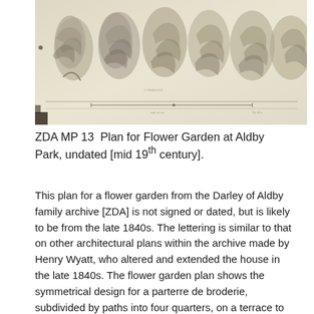[Figure (illustration): A historical architectural or botanical drawing showing a row of trees or shrubs sketched in pencil, with a baseline plan/elevation drawn below them. The drawing appears to be a survey-style plan for a flower garden, rendered in a sepia/grayscale tone on aged paper.]
ZDA MP 13  Plan for Flower Garden at Aldby Park, undated [mid 19th century].
This plan for a flower garden from the Darley of Aldby family archive [ZDA] is not signed or dated, but is likely to be from the late 1840s. The lettering is similar to that on other architectural plans within the archive made by Henry Wyatt, who altered and extended the house in the late 1840s. The flower garden plan shows the symmetrical design for a parterre de broderie, subdivided by paths into four quarters, on a terrace to the south of the main house. At the centre is a fountain,